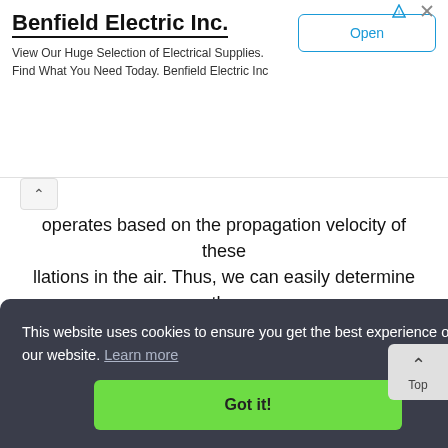[Figure (screenshot): Advertisement banner for Benfield Electric Inc. with Open button]
operates based on the propagation velocity of these llations in the air. Thus, we can easily determine the distance of two points if the time within which the wave travels this distance is....
Simple Metal detector circuit with CD4030
This website uses cookies to ensure you get the best experience on our website. Learn more
Got it!